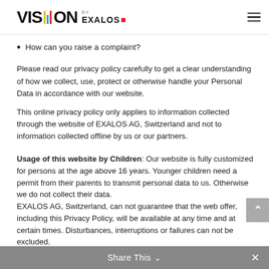VISION BY EXALOS
How can you raise a complaint?
Please read our privacy policy carefully to get a clear understanding of how we collect, use, protect or otherwise handle your Personal Data in accordance with our website.
This online privacy policy only applies to information collected through the website of EXALOS AG, Switzerland and not to information collected offline by us or our partners.
Usage of this website by Children: Our website is fully customized for persons at the age above 16 years. Younger children need a permit from their parents to transmit personal data to us. Otherwise we do not collect their data.
EXALOS AG, Switzerland, can not guarantee that the web offer, including this Privacy Policy, will be available at any time and at certain times. Disturbances, interruptions or failures can not be excluded.
Share This